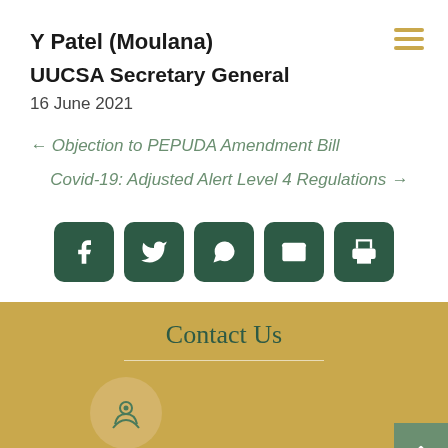Y Patel (Moulana)
UUCSA Secretary General
16 June 2021
← Objection to PEPUDA Amendment Bill
Covid-19: Adjusted Alert Level 4 Regulations →
[Figure (infographic): Social share icons: Facebook, Twitter, WhatsApp, Email, Print — dark green rounded square buttons]
Contact Us
[Figure (illustration): Location/map pin icon inside a golden circle]
Head Office